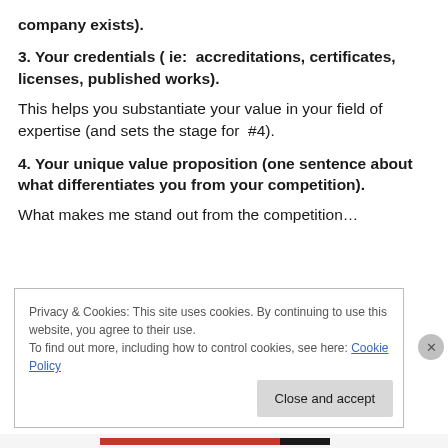company exists).
3. Your credentials ( ie:  accreditations, certificates, licenses, published works).
This helps you substantiate your value in your field of expertise (and sets the stage for  #4).
4. Your unique value proposition (one sentence about what differentiates you from your competition).
What makes me stand out from the competition…
Privacy & Cookies: This site uses cookies. By continuing to use this website, you agree to their use.
To find out more, including how to control cookies, see here: Cookie Policy